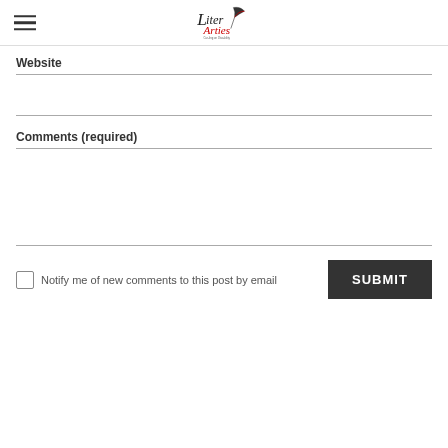LiterArties logo with hamburger menu
Website
Comments (required)
Notify me of new comments to this post by email
SUBMIT